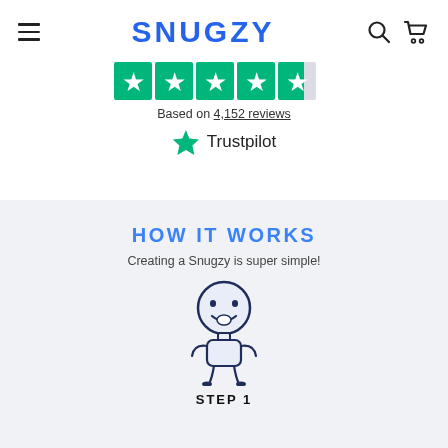SNUGZY
[Figure (illustration): Trustpilot 5-star rating stars — green star icons in a row, partially filled last star indicating near-perfect rating]
Based on 4,152 reviews
[Figure (logo): Trustpilot logo with green star icon and word Trustpilot]
HOW IT WORKS
Creating a Snugzy is super simple!
[Figure (illustration): Cartoon mascot character — round-headed smiling figure with arms out, in dark navy outline style]
STEP 1